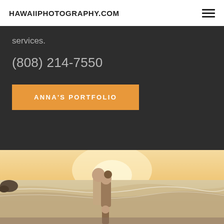HAWAIIPHOTOGRAPHY.COM
services.
(808) 214-7550
ANNA'S PORTFOLIO
[Figure (photo): A couple kissing on a beach at sunset with ocean waves and rocks in the background, with a child visible at the bottom.]